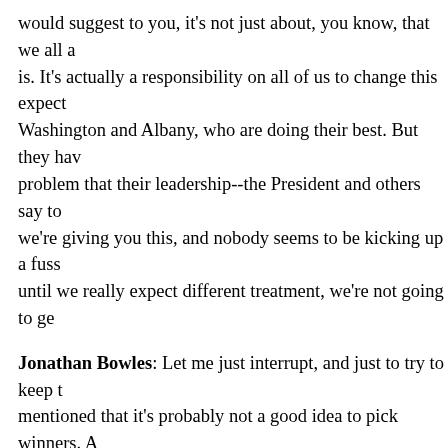would suggest to you, it's not just about, you know, that we all a is. It's actually a responsibility on all of us to change this expect Washington and Albany, who are doing their best. But they hav problem that their leadership--the President and others say to we're giving you this, and nobody seems to be kicking up a fuss until we really expect different treatment, we're not going to ge
Jonathan Bowles: Let me just interrupt, and just to try to keep t mentioned that it's probably not a good idea to pick winners. A same time, in the course of our research at the Center for an U at different sectors of the economy that either continue to be in small, but seem like they have potential for growth, that they've mentioned the health care sector and the Center has issued a c industry and the potential of our academic research institution we've seen in other cities like Boston/Cambridge or Silicon Valle and let me start with Chris on this one, are there things that we different sectors? Because we've noticed that a lot of sectors in from City Hall, that we've got a lot of potential, we just need a co we need the tools to grow. We need people that understand ou